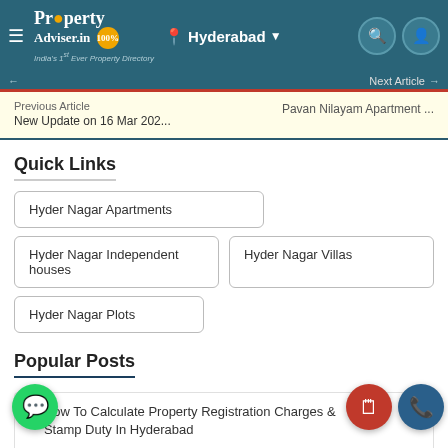PropertyAdviser.in — Hyderabad — India's 1st Ever Property Directory
← Previous Article | Next Article →
Previous Article
New Update on 16 Mar 202...
Pavan Nilayam Apartment ...
Quick Links
Hyder Nagar Apartments
Hyder Nagar Independent houses
Hyder Nagar Villas
Hyder Nagar Plots
Popular Posts
How To Calculate Property Registration Charges & Stamp Duty In Hyderabad
Importance Of GHMC Property Tax For Hyderabad